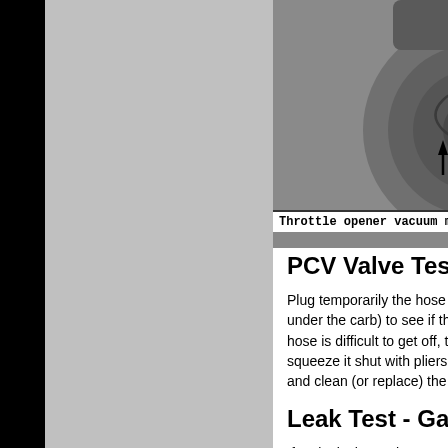[Figure (photo): Black and white photograph of a throttle opener vacuum motor (servo diaphragm) with a labeled arrow pointing to the component. Visible are circular mechanical parts and carburetor components.]
Throttle opener vacuum motor (servo diaphra...
PCV Valve Test
Plug temporarily the hose going into the (under the carb) to see if the engine slo... hose is difficult to get off, though if it isn... squeeze it shut with pliers. If it does lo... and clean (or replace) the PCV valve.
Leak Test - Gasket Junctio...
If no leaks have shown up yet, spray th... intake manifold-head junction with WD... particular spot, tighten the bolts or repl...